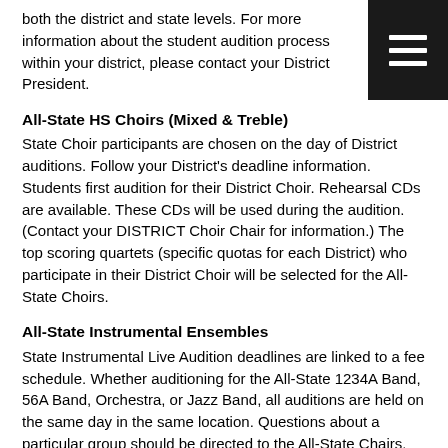both the district and state levels. For more information about the student audition process within your district, please contact your District President.
All-State HS Choirs (Mixed & Treble)
State Choir participants are chosen on the day of District auditions. Follow your District's deadline information. Students first audition for their District Choir. Rehearsal CDs are available. These CDs will be used during the audition. (Contact your DISTRICT Choir Chair for information.) The top scoring quartets (specific quotas for each District) who participate in their District Choir will be selected for the All-State Choirs.
All-State Instrumental Ensembles
State Instrumental Live Audition deadlines are linked to a fee schedule. Whether auditioning for the All-State 1234A Band, 56A Band, Orchestra, or Jazz Band, all auditions are held on the same day in the same location. Questions about a particular group should be directed to the All-State Chairs. Students must first be selected for and participate in their District ensemble first.
All-State Middle Level Choir
Deadlines are posted on the KMEA website at the beginning of each school year. The Middle Level choir is open to 7th, 8th, and